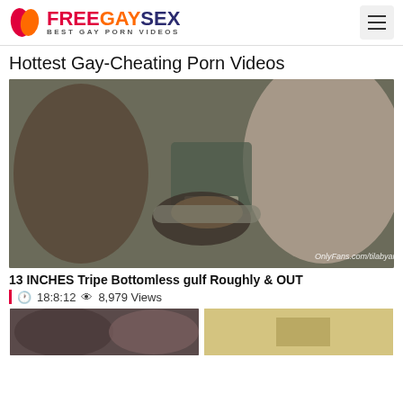FREEGAYSEX BEST GAY PORN VIDEOS
Hottest Gay-Cheating Porn Videos
[Figure (photo): Video thumbnail showing explicit adult content with watermark OnlyFans.com/tilabyanthony]
13 INCHES Tripe Bottomless gulf Roughly & OUT
18:8:12  8,979 Views
[Figure (photo): Two partial video thumbnails at bottom of page]